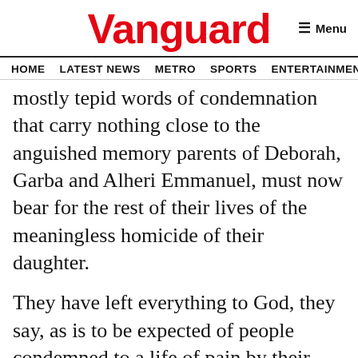Vanguard
HOME  LATEST NEWS  METRO  SPORTS  ENTERTAINMENT  VIDEOS
mostly tepid words of condemnation that carry nothing close to the anguished memory parents of Deborah, Garba and Alheri Emmanuel, must now bear for the rest of their lives of the meaningless homicide of their daughter.
They have left everything to God, they say, as is to be expected of people condemned to a life of pain by their own helplessness. If Deborah’s parents, like hundreds of millions of Nigerians outraged by this murder are helpless, what excuse does the government have? Why are they bowing, scraping